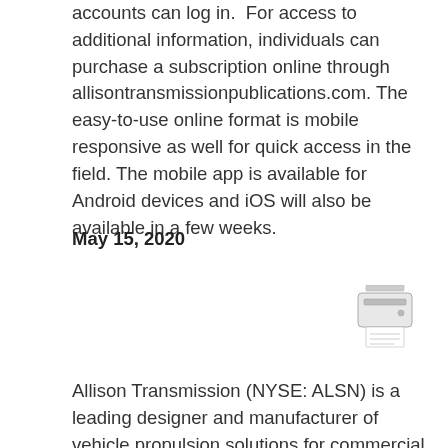accounts can log in.  For access to additional information, individuals can purchase a subscription online through allisontransmissionpublications.com. The easy-to-use online format is mobile responsive as well for quick access in the field. The mobile app is available for Android devices and iOS will also be available in a few weeks.
May 15, 2020
[Figure (other): Red 'Back' button and a printer icon]
Allison Transmission (NYSE: ALSN) is a leading designer and manufacturer of vehicle propulsion solutions for commercial and defense vehicles, the largest global manufacturer of medium- and